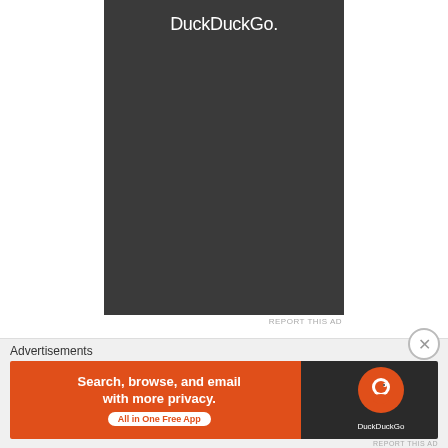[Figure (screenshot): DuckDuckGo advertisement banner with dark gray background and white DuckDuckGo. text at the top]
REPORT THIS AD
[Figure (logo): Creative Commons BY-NC-ND license badge with four icons]
This work is licensed under a Creative Commons Attribution-NonCommercial-NoDerivatives 4.0 International License.
TPT'S A MEMBER OF THE ITWA
[Figure (screenshot): Bottom advertisement bar: DuckDuckGo ad — Search, browse, and email with more privacy. All in One Free App]
REPORT THIS AD